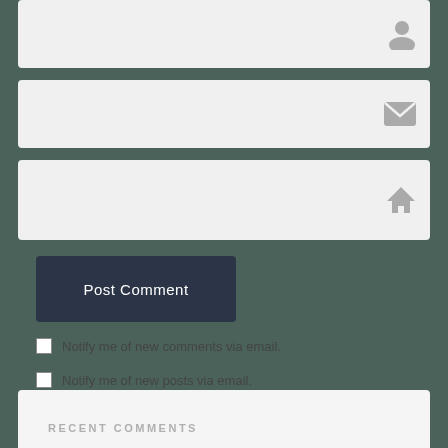[Figure (other): Input field with user/person icon on the right side, light gray background]
[Figure (other): Input field with envelope/email icon on the right side, light gray background]
[Figure (other): Input field with house/home icon on the right side, light gray background]
Post Comment
Notify me of new comments via email.
Notify me of new posts via email.
RECENT COMMENTS